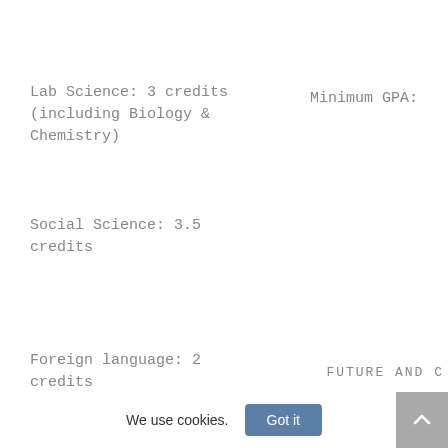Lab Science: 3 credits (including Biology & Chemistry)
Minimum GPA:
Social Science: 3.5 credits
Foreign language: 2 credits
FUTURE AND C